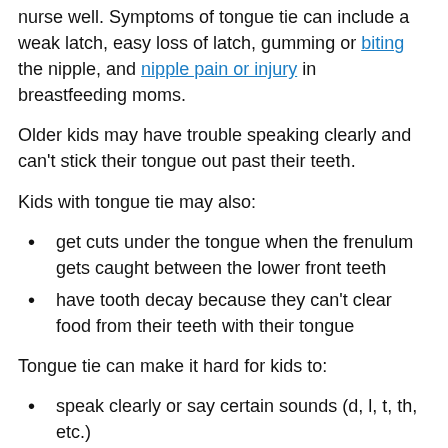nurse well. Symptoms of tongue tie can include a weak latch, easy loss of latch, gumming or biting the nipple, and nipple pain or injury in breastfeeding moms.
Older kids may have trouble speaking clearly and can't stick their tongue out past their teeth.
Kids with tongue tie may also:
get cuts under the tongue when the frenulum gets caught between the lower front teeth
have tooth decay because they can't clear food from their teeth with their tongue
Tongue tie can make it hard for kids to:
speak clearly or say certain sounds (d, l, t, th, etc.)
lick their lips